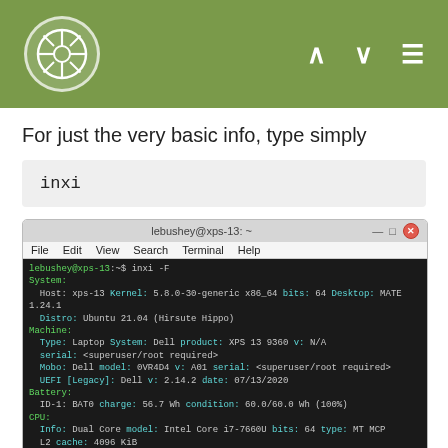lebushey@xps-13:~
For just the very basic info, type simply
inxi
[Figure (screenshot): Terminal window showing output of 'inxi -F' command on Ubuntu 21.04, displaying system info including host, kernel, machine, battery, CPU, and graphics details.]